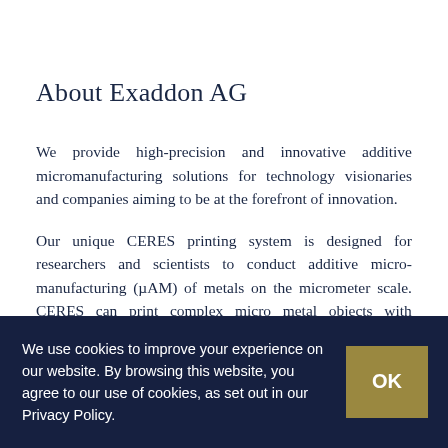About Exaddon AG
We provide high-precision and innovative additive micromanufacturing solutions for technology visionaries and companies aiming to be at the forefront of innovation.
Our unique CERES printing system is designed for researchers and scientists to conduct additive micro-manufacturing (μAM) of metals on the micrometer scale. CERES can print complex micro metal objects with
We use cookies to improve your experience on our website. By browsing this website, you agree to our use of cookies, as set out in our Privacy Policy.